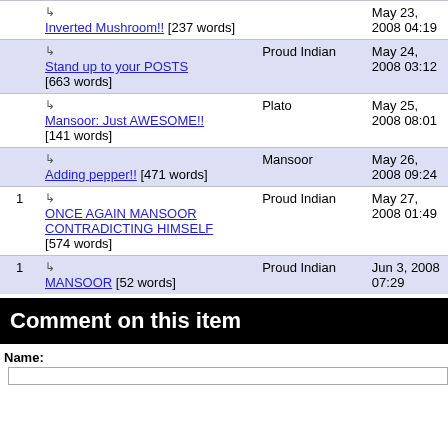|  | Title | Author | Date |
| --- | --- | --- | --- |
|  | ↳ Inverted Mushroom!! [237 words] |  | May 23, 2008 04:19 |
|  | ↳ Stand up to your POSTS [663 words] | Proud Indian | May 24, 2008 03:12 |
|  | ↳ Mansoor: Just AWESOME!! [141 words] | Plato | May 25, 2008 08:01 |
|  | ↳ Adding pepper!! [471 words] | Mansoor | May 26, 2008 09:24 |
| 1 | ↳ ONCE AGAIN MANSOOR CONTRADICTING HIMSELF [574 words] | Proud Indian | May 27, 2008 01:49 |
| 1 | ↳ MANSOOR [52 words] | Proud Indian | Jun 3, 2008 07:29 |
Comment on this item
Name: